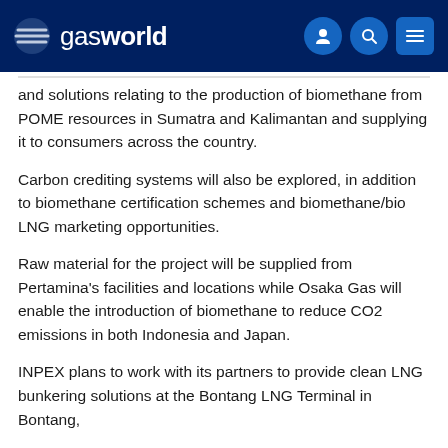gasworld
and solutions relating to the production of biomethane from POME resources in Sumatra and Kalimantan and supplying it to consumers across the country.
Carbon crediting systems will also be explored, in addition to biomethane certification schemes and biomethane/bio LNG marketing opportunities.
Raw material for the project will be supplied from Pertamina's facilities and locations while Osaka Gas will enable the introduction of biomethane to reduce CO2 emissions in both Indonesia and Japan.
INPEX plans to work with its partners to provide clean LNG bunkering solutions at the Bontang LNG Terminal in Bontang,